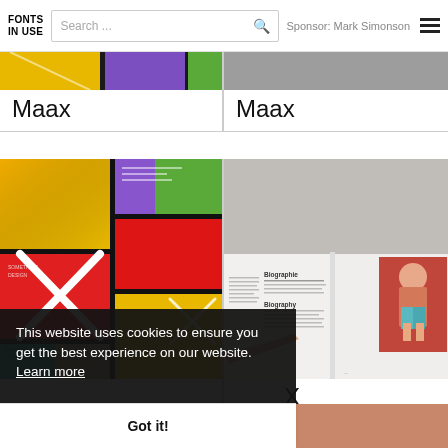FONTS IN USE | Search ... | Sponsor: Mark Simonson
Maax
Maax
[Figure (photo): Colorful geometric grid design with red, yellow, purple, green, black panels and white X shapes — promotional print material]
[Figure (photo): Open magazine/book spread showing Biography section with text columns and a photo of a person sitting on a car]
X
This website uses cookies to ensure you get the best experience on our website. Learn more
Got it!